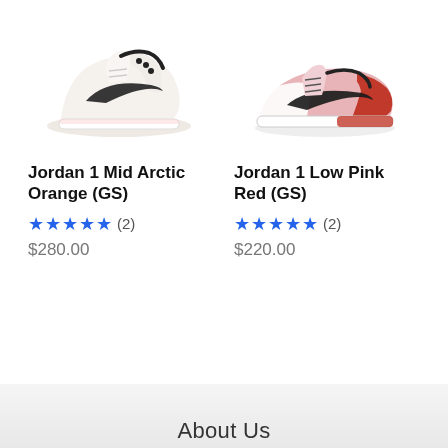[Figure (photo): Jordan 1 Mid Arctic Orange (GS) sneaker - white with black swoosh, mid-top style]
[Figure (photo): Jordan 1 Low Pink Red (GS) sneaker - pink and red colorway with black swoosh, low-top style]
Jordan 1 Mid Arctic Orange (GS)
★★★★★ (2)
$280.00
Jordan 1 Low Pink Red (GS)
★★★★★ (2)
$220.00
About Us